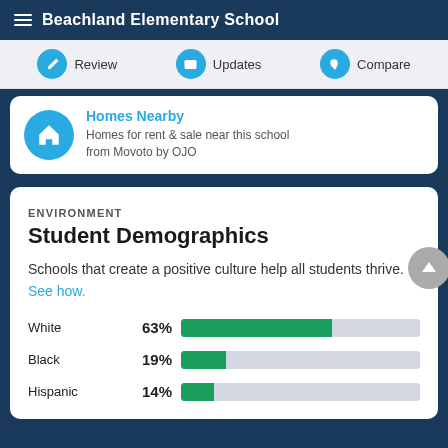Beachland Elementary School
Review | Updates | Compare
Homes Nearby — Homes for rent & sale near this school from Movoto by OJO
ENVIRONMENT
Student Demographics
Schools that create a positive culture help all students thrive. See how.
[Figure (bar-chart): Student Demographics]